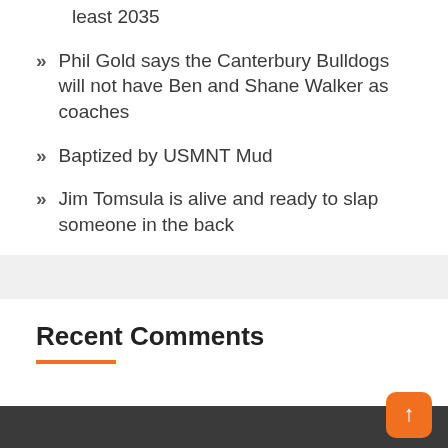least 2035
Phil Gold says the Canterbury Bulldogs will not have Ben and Shane Walker as coaches
Baptized by USMNT Mud
Jim Tomsula is alive and ready to slap someone in the back
Recent Comments